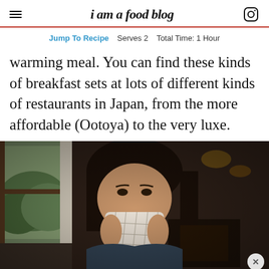i am a food blog
Jump To Recipe  Serves 2  Total Time: 1 Hour
warming meal. You can find these kinds of breakfast sets at lots of different kinds of restaurants in Japan, from the more affordable (Ootoya) to the very luxe.
[Figure (photo): Woman holding a decorative cup up to her face, sitting in a warmly lit restaurant with large windows showing a forested hillside outside.]